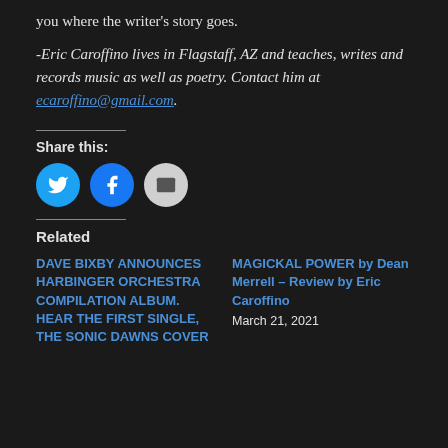you where the writer's story goes.
-Eric Caroffino lives in Flagstaff, AZ and teaches, writes and records music as well as poetry. Contact him at ecaroffino@gmail.com.
Share this:
[Figure (infographic): Three circular social share buttons: Twitter (blue), Facebook (blue), Email (grey)]
Related
DAVE BIXBY ANNOUNCES HARBINGER ORCHESTRA COMPILATION ALBUM. HEAR THE FIRST SINGLE, THE SONIC DAWNS COVER
MAGICKAL POWER by Dean Merrell – Review by Eric Caroffino
March 21, 2021